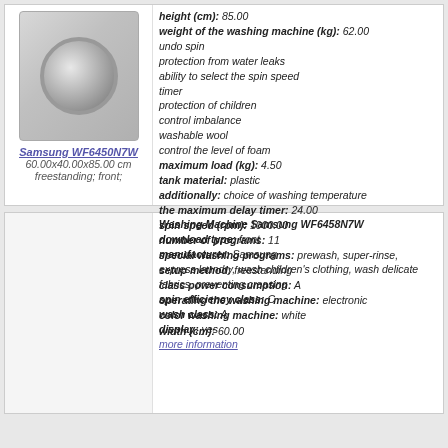[Figure (photo): Photo of Samsung WF6450N7W washing machine, front-loading, white]
Samsung WF6450N7W
60.00x40.00x85.00 cm
freestanding; front;
height (cm): 85.00
weight of the washing machine (kg): 62.00
undo spin
protection from water leaks
ability to select the spin speed
timer
protection of children
control imbalance
washable wool
control the level of foam
maximum load (kg): 4.50
tank material: plastic
additionally: choice of washing temperature
the maximum delay timer: 24.00
spin speed (rpm): 1000.00
number of programs: 11
special washing programs: prewash, super-rinse, express laundry, wash children's clothing, wash delicate fabrics, preventing creasing
spin efficiency class: C
wash class: A
display: yes
more information
Washing Machine Samsung WF6458N7W
download type: front
manufacturer: Samsung
setup method: freestanding
class power consumption: A
operating the washing machine: electronic
color washing machine: white
width (cm): 60.00